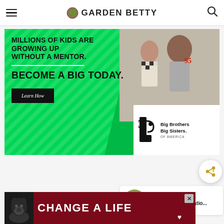GARDEN BETTY
[Figure (infographic): Big Brothers Big Sisters of America advertisement. Green background with text: 'MILLIONS OF KIDS ARE GROWING UP WITHOUT A MENTOR. BECOME A BIG TODAY.' with a Learn How button, BBBS logo, and photo of children with a mentor.]
[Figure (infographic): Share button (circular with share icon)]
[Figure (infographic): What's Next widget showing 'Easy Bee Identificatio...' with thumbnail of a bee on a flower]
[Figure (infographic): Bottom advertisement: 'CHANGE A LIFE' on dark red background with a black dog photo on the left]